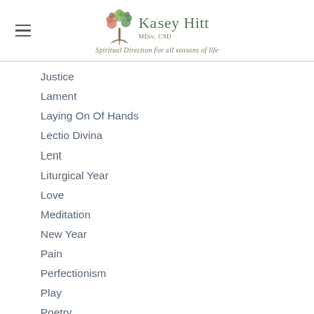Kasey Hitt MDiv, CSD — Spiritual Direction for all seasons of life
Justice
Lament
Laying On Of Hands
Lectio Divina
Lent
Liturgical Year
Love
Meditation
New Year
Pain
Perfectionism
Play
Poetry
Prayer
Presence
Saints & Mystics
Scripture